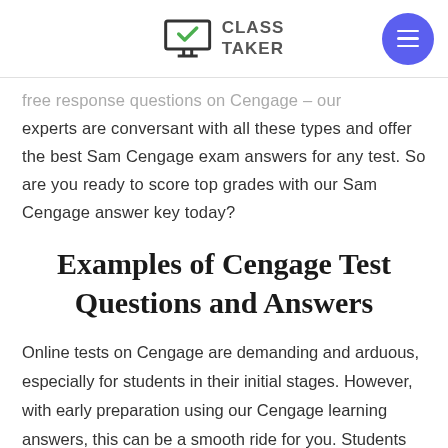CLASS TAKER
free response questions on Cengage – our experts are conversant with all these types and offer the best Sam Cengage exam answers for any test. So are you ready to score top grades with our Sam Cengage answer key today?
Examples of Cengage Test Questions and Answers
Online tests on Cengage are demanding and arduous, especially for students in their initial stages. However, with early preparation using our Cengage learning answers, this can be a smooth ride for you. Students who use online